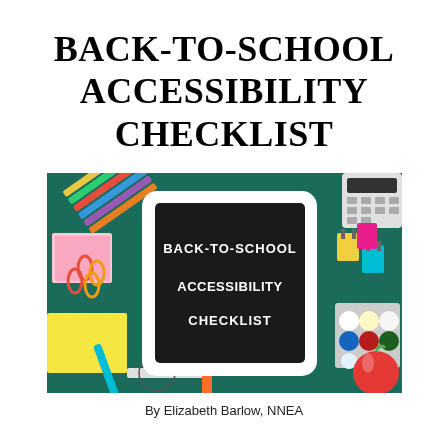BACK-TO-SCHOOL ACCESSIBILITY CHECKLIST
[Figure (photo): A tablet on a green cutting mat surrounded by school supplies (colored pencils, paper clips, sticky notes, a ruler, an apple, paint set, binder clips) displaying text 'BACK-TO-SCHOOL ACCESSIBILITY CHECKLIST' in white bold font on a black chalkboard-style background.]
By Elizabeth Barlow, NNEA